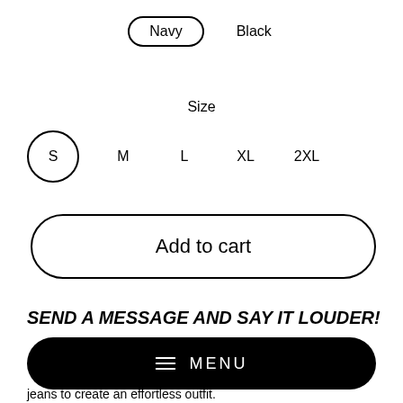Navy  Black
Size
S  M  L  XL  2XL
Add to cart
SEND A MESSAGE AND SAY IT LOUDER!
MENU
jeans to create an effortless outfit.